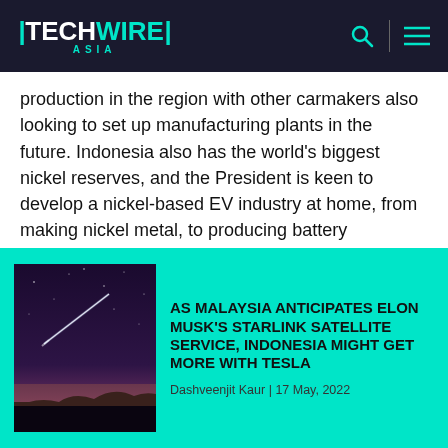TECHWIRE ASIA
production in the region with other carmakers also looking to set up manufacturing plants in the future. Indonesia also has the world's biggest nickel reserves, and the President is keen to develop a nickel-based EV industry at home, from making nickel metal, to producing battery components and assembling EVs.
[Figure (photo): Night sky with a streak of light (likely a satellite or meteor) over a dark landscape silhouette, purple-orange horizon glow.]
AS MALAYSIA ANTICIPATES ELON MUSK'S STARLINK SATELLITE SERVICE, INDONESIA MIGHT GET MORE WITH TESLA
Dashveenjit Kaur | 17 May, 2022